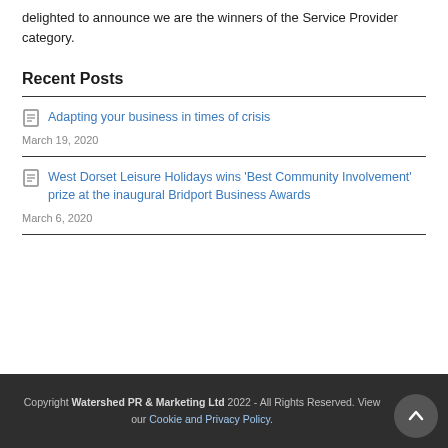delighted to announce we are the winners of the Service Provider category.
Recent Posts
Adapting your business in times of crisis
March 19, 2020
West Dorset Leisure Holidays wins 'Best Community Involvement' prize at the inaugural Bridport Business Awards
March 6, 2020
Copyright Watershed PR & Marketing Ltd 2022 - All Rights Reserved. View our Cookie and Privacy Policy.